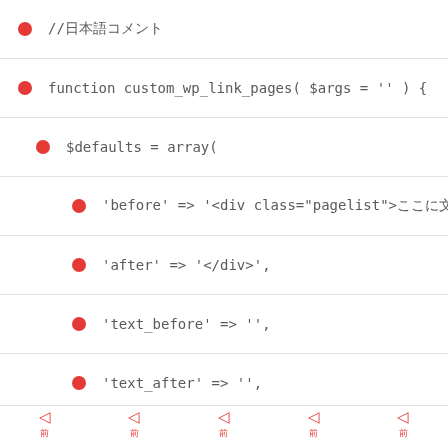//日本語コメント
function custom_wp_link_pages( $args = '' ) {
$defaults = array(
'before' => '<div class="pagelist">ここに文字',
'after' => '</div>',
'text_before' => '',
'text_after' => '',
'next_or_number' => 'number',
'nextpagelink' =>'次へ',
◁  ◁  ◁  ◁  ◁